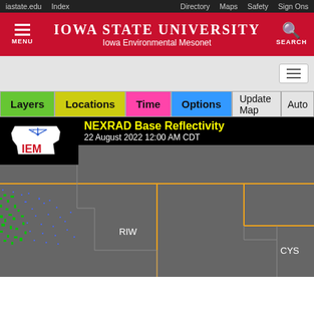iastate.edu  Index  Directory  Maps  Safety  Sign Ons
Iowa State University — Iowa Environmental Mesonet
[Figure (screenshot): Iowa Environmental Mesonet NEXRAD Base Reflectivity radar map for 22 August 2022 12:00 AM CDT showing radar returns over Wyoming/South Dakota region with county boundaries and NWS radar site labels RIW and CYS]
NEXRAD Base Reflectivity
22 August 2022 12:00 AM CDT